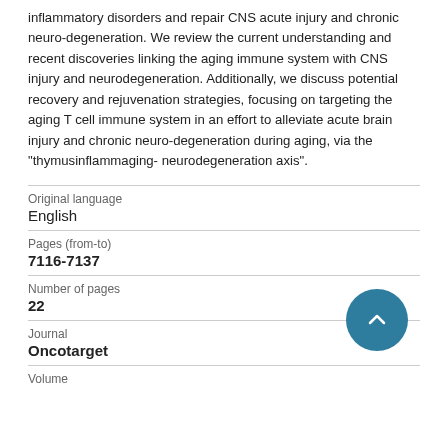inflammatory disorders and repair CNS acute injury and chronic neuro-degeneration. We review the current understanding and recent discoveries linking the aging immune system with CNS injury and neurodegeneration. Additionally, we discuss potential recovery and rejuvenation strategies, focusing on targeting the aging T cell immune system in an effort to alleviate acute brain injury and chronic neuro-degeneration during aging, via the "thymusinflammaging- neurodegeneration axis".
| Original language | English |
| Pages (from-to) | 7116-7137 |
| Number of pages | 22 |
| Journal | Oncotarget |
| Volume |  |